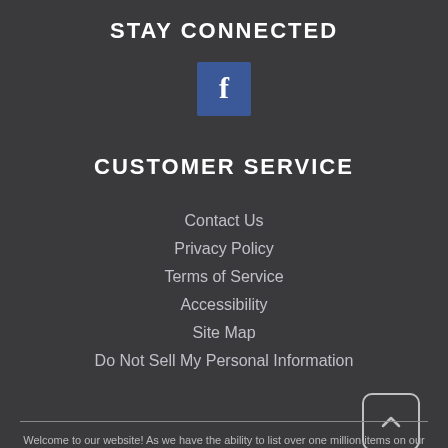STAY CONNECTED
[Figure (logo): Facebook icon — white 'f' letter on blue square background]
CUSTOMER SERVICE
Contact Us
Privacy Policy
Terms of Service
Accessibility
Site Map
Do Not Sell My Personal Information
[Figure (other): Scroll-to-top button with caret/chevron up arrow, rounded rectangle border]
Welcome to our website! As we have the ability to list over one million items on our website (our selection changes all of the time), it is not feasible for a company our size to record and playback the descriptions on every item on our website. However, if you have a disability we are here to help you. Please call our disability services phone line at 601-823-9080 during regular business hours and one of our kind and friendly personal shoppers will help